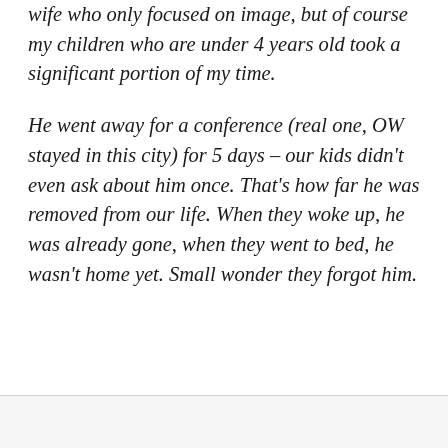wife who only focused on image, but of course my children who are under 4 years old took a significant portion of my time.
He went away for a conference (real one, OW stayed in this city) for 5 days – our kids didn't even ask about him once. That's how far he was removed from our life. When they woke up, he was already gone, when they went to bed, he wasn't home yet. Small wonder they forgot him.